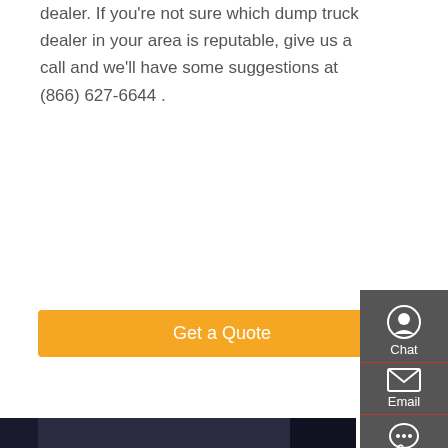dealer. If you're not sure which dump truck dealer in your area is reputable, give us a call and we'll have some suggestions at (866) 627-6644 .
Get a Quote
[Figure (photo): Interior cab view of a dump truck showing the steering wheel and dashboard]
Pros And Cons Of Dump Truck Driving - Truckers Training
15/2/2019 · Pros and Cons of Dump Truck Driving. Geoff Craig, MBA. Geoff is a freelance writer with 20+ years of experience in driving and trucking.